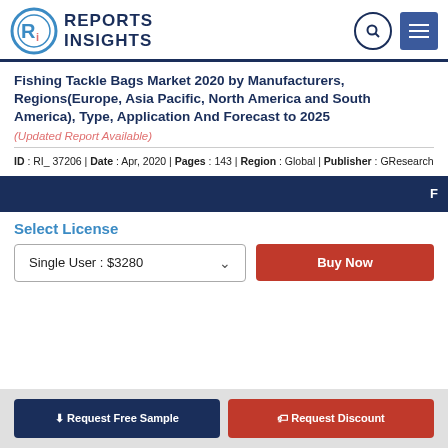Reports Insights
Fishing Tackle Bags Market 2020 by Manufacturers, Regions(Europe, Asia Pacific, North America and South America), Type, Application And Forecast to 2025
(Updated Report Available)
ID : RI_ 37206 | Date : Apr, 2020 | Pages : 143 | Region : Global | Publisher : GResearch
Select License
Single User : $3280
Buy Now
Request Free Sample
Request Discount